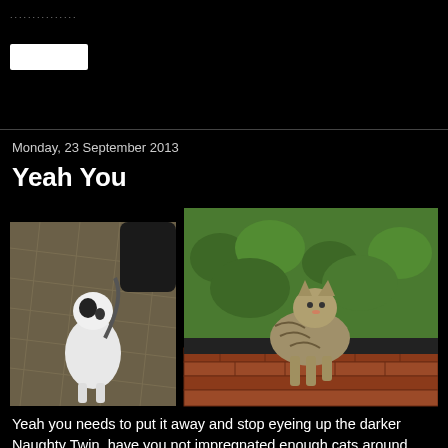Monday, 23 September 2013
Yeah You
[Figure (photo): Two photos of cats side by side on dark background. Left: a black and white cat standing upright on a paved driveway looking up, with a car tyre visible. Right: a tabby cat sitting on a brick wall with green hedge behind it.]
Yeah you needs to put it away and stop eyeing up the darker Naughty Twin, have you not impregnated enough cats around here this year?